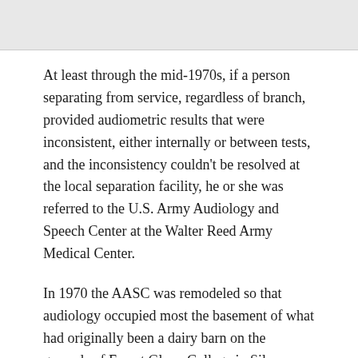At least through the mid-1970s, if a person separating from service, regardless of branch, provided audiometric results that were inconsistent, either internally or between tests, and the inconsistency couldn't be resolved at the local separation facility, he or she was referred to the U.S. Army Audiology and Speech Center at the Walter Reed Army Medical Center.
In 1970 the AASC was remodeled so that audiology occupied most the basement of what had originally been a dairy barn on the grounds of Forest Glenn College in Silver Spring, MD, located some 3 miles from the main hospital. While I was one of four audiologists seeing patients at the Glenn, I lived across the street from the main hospital and managed the two movie theatres on the post – sometimes filling in as projectionist as the main theatre located adjacent to the main hospital. The other theatre on the post was at the